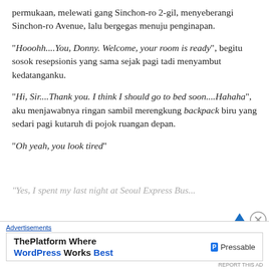permukaan, melewati gang Sinchon-ro 2-gil, menyeberangi Sinchon-ro Avenue, lalu bergegas menuju penginapan.
“Hooohh....You, Donny. Welcome, your room is ready”, begitu sosok resepsionis yang sama sejak pagi tadi menyambut kedatanganku.
“Hi, Sir....Thank you. I think I should go to bed soon....Hahaha”, aku menjawabnya ringan sambil merengkung backpack biru yang sedari pagi kutaruh di pojok ruangan depan.
“Oh yeah, you look tired”
“Yes, I spent my last night at Seoul Express Bus...
[Figure (other): Advertisement banner: 'Advertisements' label above a box reading 'ThePlatform Where WordPress Works Best' with Pressable logo]